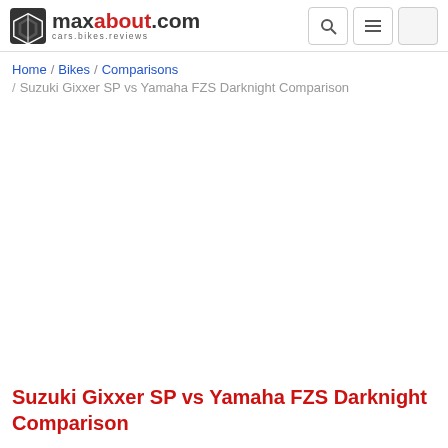maxabout.com cars.bikes.reviews
Home / Bikes / Comparisons / Suzuki Gixxer SP vs Yamaha FZS Darknight Comparison
Suzuki Gixxer SP vs Yamaha FZS Darknight Comparison